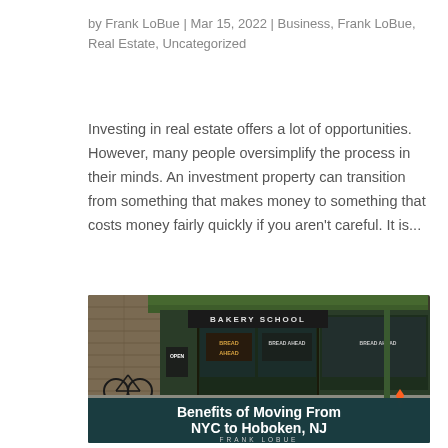by Frank LoBue | Mar 15, 2022 | Business, Frank LoBue, Real Estate, Uncategorized
Investing in real estate offers a lot of opportunities. However, many people oversimplify the process in their minds. An investment property can transition from something that makes money to something that costs money fairly quickly if you aren't careful. It is...
[Figure (photo): Storefront of a bakery school (Bread Ahead Bakery School) with a dark green facade, brick wall on the left, a bicycle leaning against the wall, an open sign, and a traffic cone in the foreground. Overlay text at bottom reads 'Benefits of Moving From NYC to Hoboken, NJ' with 'FRANK LOBUE' below.]